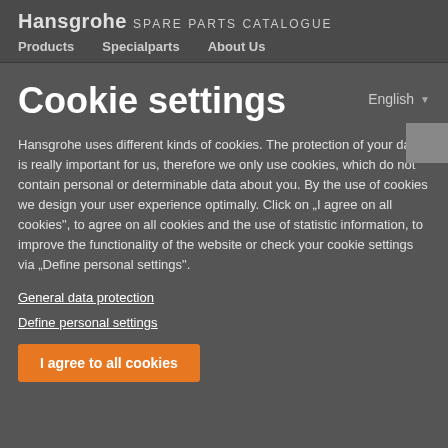Hansgrohe SPARE PARTS CATALOGUE | Products | Specialparts | About Us
Cookie settings
English
Hansgrohe uses different kinds of cookies. The protection of your data is really important for us, therefore we only use cookies, which do not contain personal or determinable data about you. By the use of cookies we design your user experience optimally. Click on „I agree on all cookies“, to agree on all cookies and the use of statistic information, to improve the functionality of the website or check your cookie settings via „Define personal settings“.
General data protection
Define personal settings
I agree to all cookies